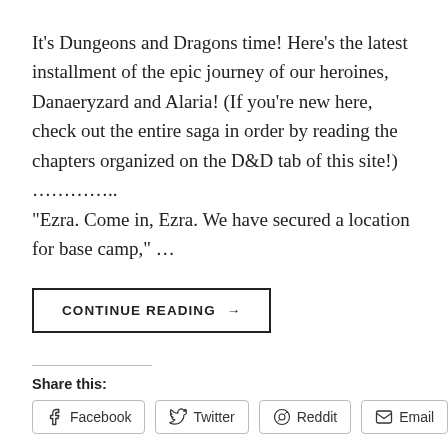It's Dungeons and Dragons time! Here's the latest installment of the epic journey of our heroines, Danaeryzard and Alaria! (If you're new here, check out the entire saga in order by reading the chapters organized on the D&D tab of this site!) …………..
"Ezra. Come in, Ezra. We have secured a location for base camp," …
CONTINUE READING →
Share this:
Facebook
Twitter
Reddit
Email